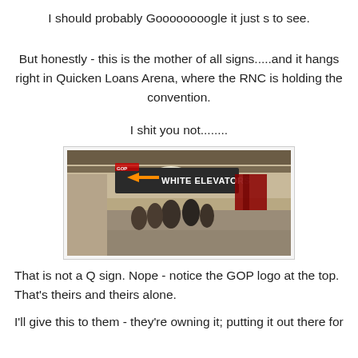I should probably Goooooooogle it just s to see.
But honestly - this is the mother of all signs.....and it hangs right in Quicken Loans Arena, where the RNC is holding the convention.
I shit you not........
[Figure (photo): Indoor photo of a corridor at Quicken Loans Arena showing a hanging directional sign with an arrow pointing right that reads 'WHITE ELEVATORS', with the GOP logo at the top of the sign. People are visible in the background.]
That is not a Q sign.  Nope - notice the GOP logo at the top. That's theirs and theirs alone.
I'll give this to them - they're owning it; putting it out there for